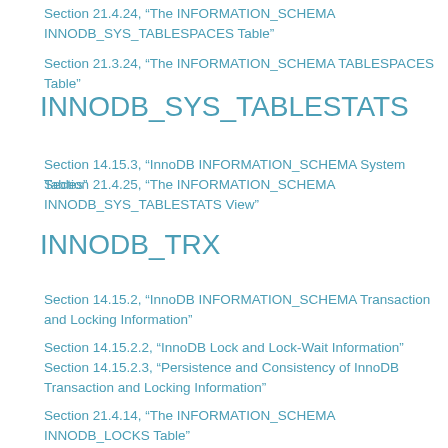Section 21.4.24, “The INFORMATION_SCHEMA INNODB_SYS_TABLESPACES Table”
Section 21.3.24, “The INFORMATION_SCHEMA TABLESPACES Table”
INNODB_SYS_TABLESTATS
Section 14.15.3, “InnoDB INFORMATION_SCHEMA System Tables”
Section 21.4.25, “The INFORMATION_SCHEMA INNODB_SYS_TABLESTATS View”
INNODB_TRX
Section 14.15.2, “InnoDB INFORMATION_SCHEMA Transaction and Locking Information”
Section 14.15.2.2, “InnoDB Lock and Lock-Wait Information”
Section 14.15.2.3, “Persistence and Consistency of InnoDB Transaction and Locking Information”
Section 21.4.14, “The INFORMATION_SCHEMA INNODB_LOCKS Table”
Section 21.4.26, “The INFORMATION_SCHEMA INNODB_TRX Table”
Section 14.15.2.1, “Using InnoDB Transaction and Locking Information”